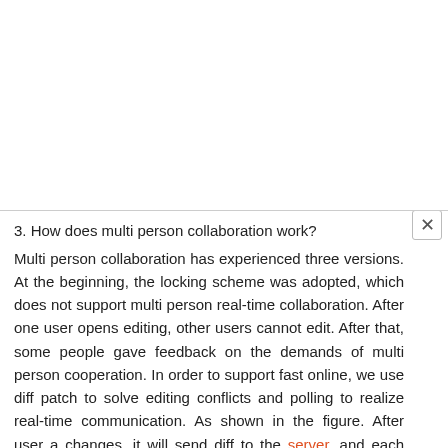3. How does multi person collaboration work?
Multi person collaboration has experienced three versions. At the beginning, the locking scheme was adopted, which does not support multi person real-time collaboration. After one user opens editing, other users cannot edit. After that, some people gave feedback on the demands of multi person cooperation. In order to support fast online, we use diff patch to solve editing conflicts and polling to realize real-time communication. As shown in the figure. After user a changes, it will send diff to the server, and each client will regularly pull up the latest case from the server. There is a problem here. If the pull-out time is set too short, the interaction